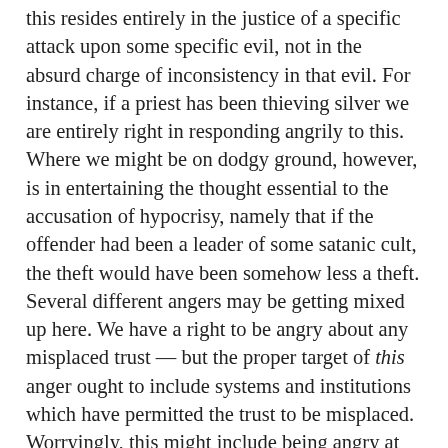this resides entirely in the justice of a specific attack upon some specific evil, not in the absurd charge of inconsistency in that evil. For instance, if a priest has been thieving silver we are entirely right in responding angrily to this. Where we might be on dodgy ground, however, is in entertaining the thought essential to the accusation of hypocrisy, namely that if the offender had been a leader of some satanic cult, the theft would have been somehow less a theft. Several different angers may be getting mixed up here. We have a right to be angry about any misplaced trust — but the proper target of this anger ought to include systems and institutions which have permitted the trust to be misplaced. Worryingly, this might include being angry at ourselves, and anyway impersonal things are difficult targets for anger to hit — so it is much easier to be angry at the personal other. So it often happens that already feeling great anger at the offender for the specific offence, we also throw onto him, willy-nilly, this additional floating anger about the failure of our misplaced confidence in him. Much of this confusion is expressed in the angry cheated-trust cry of 'hypocrite!', with it's utterly perverse implication that a consistently evil man would have been more praiseworthy.